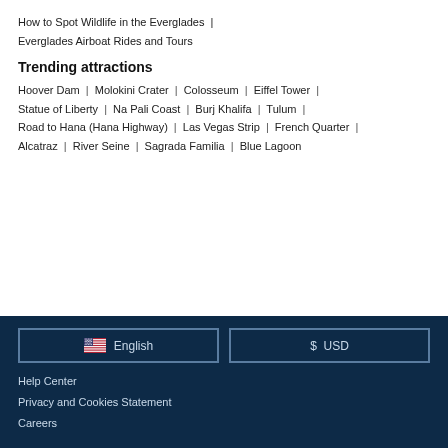How to Spot Wildlife in the Everglades | Everglades Airboat Rides and Tours
Trending attractions
Hoover Dam | Molokini Crater | Colosseum | Eiffel Tower | Statue of Liberty | Na Pali Coast | Burj Khalifa | Tulum | Road to Hana (Hana Highway) | Las Vegas Strip | French Quarter | Alcatraz | River Seine | Sagrada Familia | Blue Lagoon
English (US flag button)
$ USD (currency button)
Help Center
Privacy and Cookies Statement
Careers